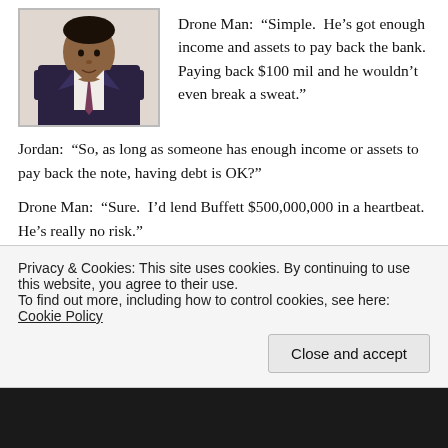[Figure (photo): Portrait photo of a man in a dark suit and tie]
Drone Man:  “Simple.  He’s got enough income and assets to pay back the bank.  Paying back $100 mil and he wouldn’t even break a sweat.”
Jordan:  “So, as long as someone has enough income or assets to pay back the note, having debt is OK?”
Drone Man:  “Sure.  I’d lend Buffett $500,000,000 in a heartbeat.  He’s really no risk.”
Jordan:  “If you’d lend to Mr. Buffett, then why are you
Privacy & Cookies: This site uses cookies. By continuing to use this website, you agree to their use.
To find out more, including how to control cookies, see here: Cookie Policy
Close and accept